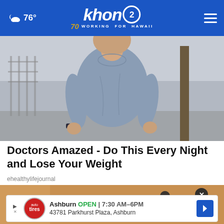khon2 WORKING FOR HAWAII — 76°
[Figure (photo): Woman in grey scrubs top standing outdoors near a tree and metal railing, shown from neck down]
Doctors Amazed - Do This Every Night and Lose Your Weight
ehealthylifejournal
[Figure (photo): Partial view of second article image with a close (X) button overlay and an advertisement banner for Tire Auto Ashburn showing OPEN 7:30 AM-6PM, 43781 Parkhurst Plaza, Ashburn]